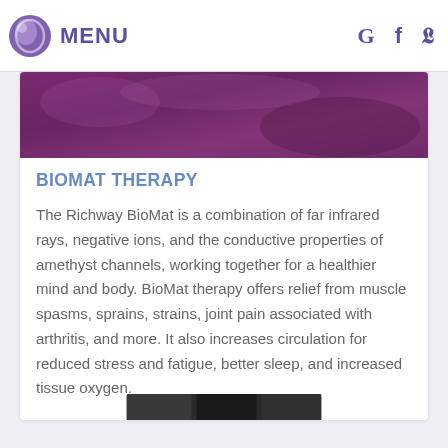MENU
[Figure (photo): Purple/mauve colored fabric or textile background image strip]
BIOMAT THERAPY
The Richway BioMat is a combination of far infrared rays, negative ions, and the conductive properties of amethyst channels, working together for a healthier mind and body. BioMat therapy offers relief from muscle spasms, sprains, strains, joint pain associated with arthritis, and more. It also increases circulation for reduced stress and fatigue, better sleep, and increased tissue oxygen.
[Figure (photo): Small thumbnail photo at bottom of page, dark tones]